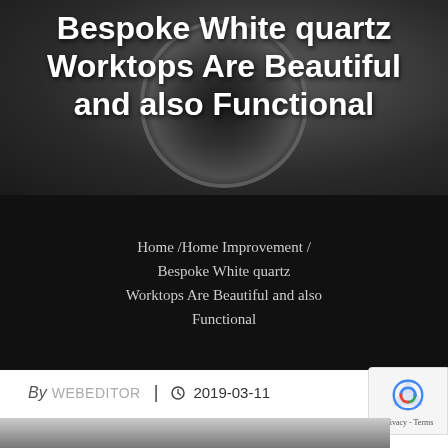[Figure (photo): Dark hero image with camera lens visible, overlaid with large white bold title text]
Bespoke White quartz Worktops Are Beautiful and also Functional
Home / Home Improvement / Bespoke White quartz Worktops Are Beautiful and also Functional
By WEBEDITOR | 2019-03-11
[Figure (photo): Partial view of bottom image strip showing a kitchen or worktop scene]